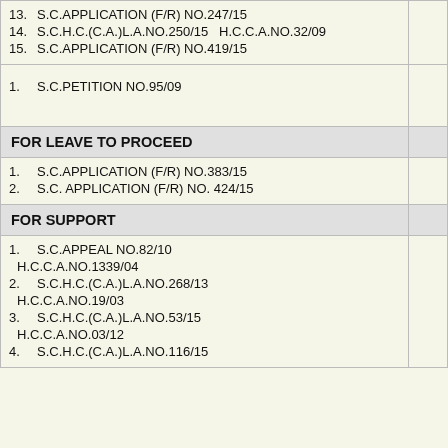13. S.C.APPLICATION (F/R) NO.247/15
14. S.C.H.C.(C.A.)L.A.NO.250/15   H.C.C.A.NO.32/09
15. S.C.APPLICATION (F/R) NO.419/15
1. S.C.PETITION NO.95/09
FOR LEAVE TO PROCEED
1. S.C.APPLICATION (F/R) NO.383/15
2. S.C. APPLICATION (F/R) NO. 424/15
FOR SUPPORT
1. S.C.APPEAL NO.82/10
H.C.C.A.NO.1339/04
2. S.C.H.C.(C.A.)L.A.NO.268/13
H.C.C.A.NO.19/03
3. S.C.H.C.(C.A.)L.A.NO.53/15
H.C.C.A.NO.03/12
4. S.C.H.C.(C.A.)L.A.NO.116/15